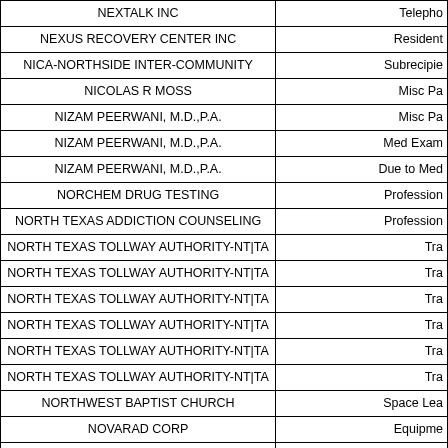| Vendor Name | Payment Type |
| --- | --- |
| NEXTALK INC | Telepho |
| NEXUS RECOVERY CENTER INC | Resident |
| NICA-NORTHSIDE INTER-COMMUNITY | Subrecipie |
| NICOLAS R MOSS | Misc Pa |
| NIZAM PEERWANI, M.D.,P.A. | Misc Pa |
| NIZAM PEERWANI, M.D.,P.A. | Med Exam |
| NIZAM PEERWANI, M.D.,P.A. | Due to Med |
| NORCHEM DRUG TESTING | Profession |
| NORTH TEXAS ADDICTION COUNSELING | Profession |
| NORTH TEXAS TOLLWAY AUTHORITY-NTTA | Tra |
| NORTH TEXAS TOLLWAY AUTHORITY-NTTA | Tra |
| NORTH TEXAS TOLLWAY AUTHORITY-NTTA | Tra |
| NORTH TEXAS TOLLWAY AUTHORITY-NTTA | Tra |
| NORTH TEXAS TOLLWAY AUTHORITY-NTTA | Tra |
| NORTH TEXAS TOLLWAY AUTHORITY-NTTA | Tra |
| NORTHWEST BAPTIST CHURCH | Space Lea |
| NOVARAD CORP | Equipme |
| NOVARAD CORP | Equipme |
| NUNNELEY FAMILY LAW CENTER | Counsel Fe |
| NUNNELEY FAMILY LAW CENTER | Counsel Fe |
| OCCUPATIONAL HEALTH CENTERS SW | Employee |
| OLAMETER CORPORATION | Building Ma |
| OLMSTED-KIRK PAPER CO | Building Ma |